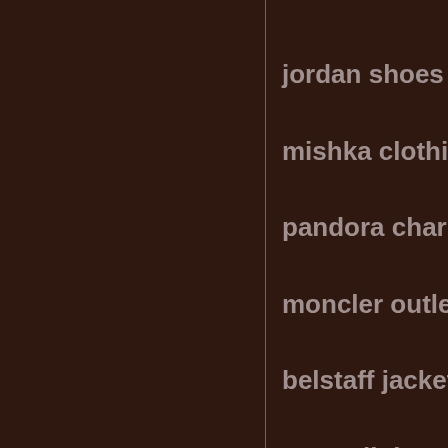jordan shoes
mishka clothing
pandora charms
moncler outlet
belstaff jackets
true religion